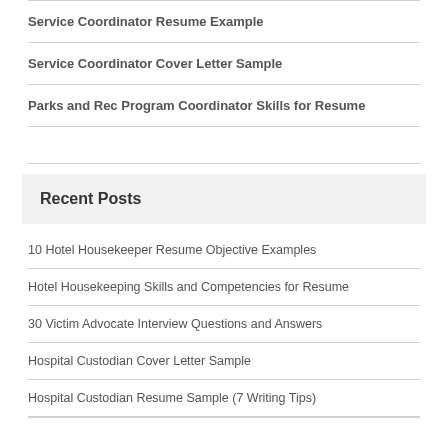Service Coordinator Resume Example
Service Coordinator Cover Letter Sample
Parks and Rec Program Coordinator Skills for Resume
Recent Posts
10 Hotel Housekeeper Resume Objective Examples
Hotel Housekeeping Skills and Competencies for Resume
30 Victim Advocate Interview Questions and Answers
Hospital Custodian Cover Letter Sample
Hospital Custodian Resume Sample (7 Writing Tips)